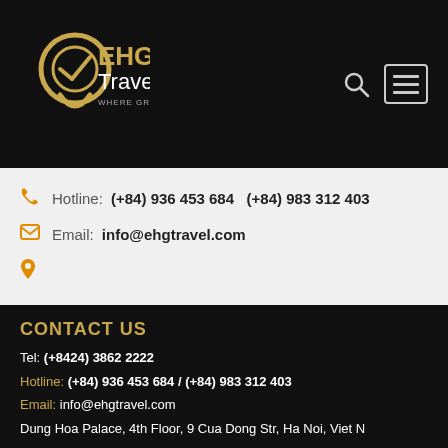[Figure (logo): EHG Travel logo with golden compass/location pin icon and text 'EHG Travel - Where Great Journey Begins' on dark background]
Hotline: (+84) 936 453 684   (+84) 983 312 403
Email: info@ehgtravel.com
© Copyright EhgTravel – 2008
CONTACT US
Tel: (+8424) 3862 2222
Hotline: (+84) 936 453 684 / (+84) 983 312 403
Email: info@ehgtravel.com
Dung Hoa Palace, 4th Floor, 9 Cua Dong Str, Ha Noi, Viet N...